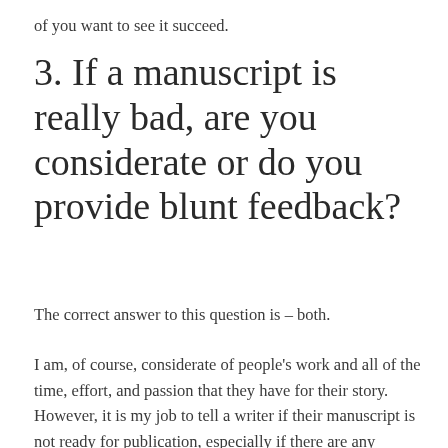of you want to see it succeed.
3. If a manuscript is really bad, are you considerate or do you provide blunt feedback?
The correct answer to this question is – both.
I am, of course, considerate of people's work and all of the time, effort, and passion that they have for their story. However, it is my job to tell a writer if their manuscript is not ready for publication, especially if there are any glaring